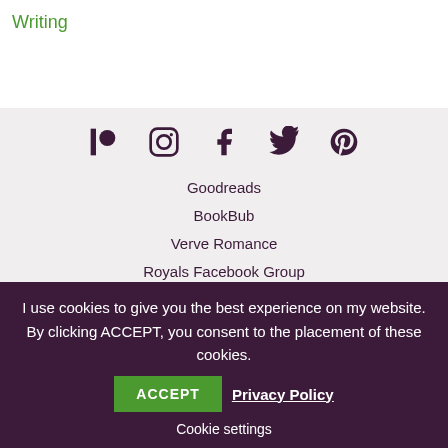Writing
[Figure (other): Social media icons row: Patreon, Instagram, Facebook, Twitter, Pinterest]
Goodreads
BookBub
Verve Romance
Royals Facebook Group
Valleria Facebook Group
Copyright © 2022 Marianne Knightly. All Rights Reserved.
I use cookies to give you the best experience on my website. By clicking ACCEPT, you consent to the placement of these cookies.
ACCEPT
Privacy Policy
Cookie settings